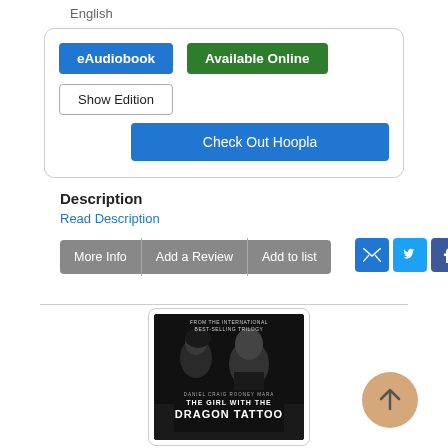English
eAudiobook | Available Online | Show Edition | Check Out Hoopla
Description
Read Description
More Info
Add a Review
Add to list
[Figure (photo): Movie poster for The Girl with the Dragon Tattoo featuring Daniel Craig and Rooney Mara in black and white]
Back to top arrow button